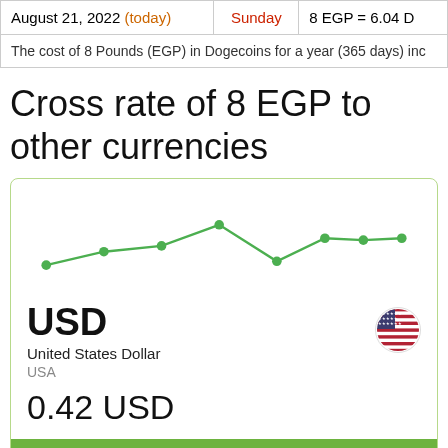| Date | Day | Rate |
| --- | --- | --- |
| August 21, 2022 (today) | Sunday | 8 EGP = 6.04 D |
The cost of 8 Pounds (EGP) in Dogecoins for a year (365 days) inc
Cross rate of 8 EGP to other currencies
[Figure (line-chart): Line chart showing USD exchange rate trend over a week with green dots and line]
USD
United States Dollar
USA
0.42 USD
Exchange rate change for the week
+$0.0003   +0.08%